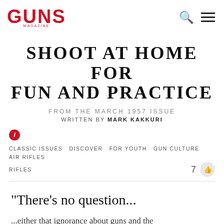GUNS MAGAZINE
SHOOT AT HOME FOR FUN AND PRACTICE
FROM THE MARCH 1957 ISSUE
WRITTEN BY MARK KAKKURI
CLASSIC ISSUES  DISCOVER  FOR YOUTH  GUN CULTURE  AIR RIFLES  RIFLES   7
"There's no question...
...either that ignorance about guns and the